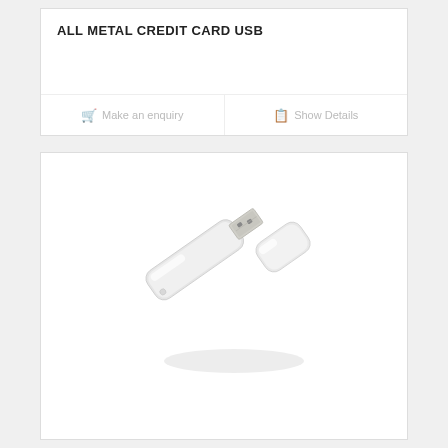ALL METAL CREDIT CARD USB
Make an enquiry
Show Details
[Figure (photo): Photo of a white USB flash drive with its cap removed, showing the metal USB connector, placed on a white background.]